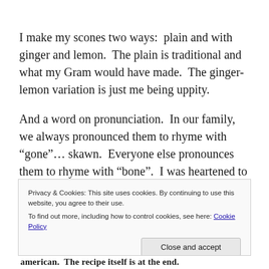I make my scones two ways:  plain and with ginger and lemon.  The plain is traditional and what my Gram would have made.  The ginger-lemon variation is just me being uppity.
And a word on pronunciation.  In our family, we always pronounced them to rhyme with “gone”… skawn.  Everyone else pronounces them to rhyme with “bone”.  I was heartened to hear on a trip to Scotland that they too pronounced it “skawn”.  It was just another bit of evidence that those things
Privacy & Cookies: This site uses cookies. By continuing to use this website, you agree to their use.
To find out more, including how to control cookies, see here: Cookie Policy
Close and accept
american.  The recipe itself is at the end.